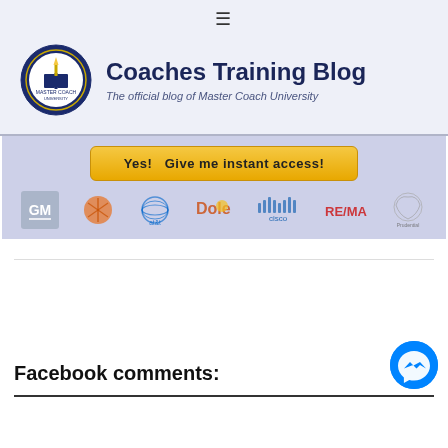☰
Coaches Training Blog
The official blog of Master Coach University
[Figure (logo): Master Coach University circular badge logo with torch and book]
[Figure (infographic): Banner ad with yellow button 'Yes! Give me instant access!' and logos of GM, Shell, AT&T, Dole, Cisco, RE/MAX, Prudential]
Facebook comments:
[Figure (logo): Facebook Messenger blue circular icon]